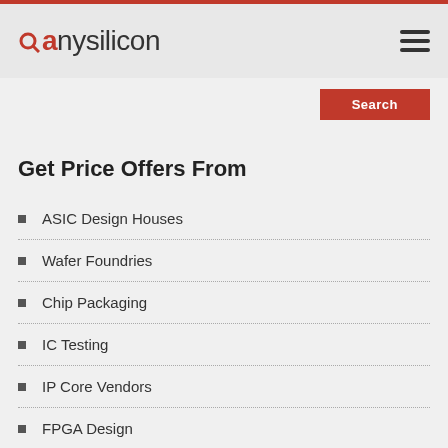anysilicon
Get Price Offers From
ASIC Design Houses
Wafer Foundries
Chip Packaging
IC Testing
IP Core Vendors
FPGA Design
Welcome New Vendors
Teledyne e2v Semiconductors
Thales Silicon Security
Alter Technology